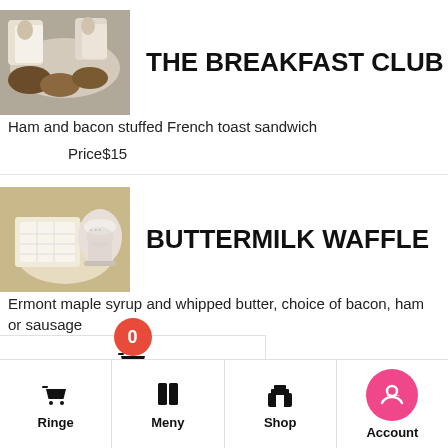[Figure (photo): Food photo: pastries and coffee cups on a plate]
THE BREAKFAST CLUB
Ham and bacon stuffed French toast sandwich
Price$15
[Figure (photo): Food photo: waffle with coffee cup]
BUTTERMILK WAFFLE
Ermont maple syrup and whipped butter, choice of bacon, ham or sausage
Price$12.95
[Figure (photo): Partial food photo at bottom (coffee/chalkboard)]
Ringe   Meny   Shop   Account